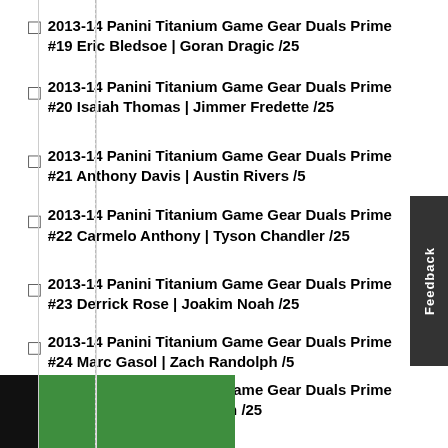2013-14 Panini Titanium Game Gear Duals Prime #19 Eric Bledsoe | Goran Dragic /25
2013-14 Panini Titanium Game Gear Duals Prime #20 Isaiah Thomas | Jimmer Fredette /25
2013-14 Panini Titanium Game Gear Duals Prime #21 Anthony Davis | Austin Rivers /5
2013-14 Panini Titanium Game Gear Duals Prime #22 Carmelo Anthony | Tyson Chandler /25
2013-14 Panini Titanium Game Gear Duals Prime #23 Derrick Rose | Joakim Noah /25
2013-14 Panini Titanium Game Gear Duals Prime #24 Marc Gasol | Zach Randolph /5
2013-14 Panini Titanium Game Gear Duals Prime #25 Norris Cole | Ray Allen /25